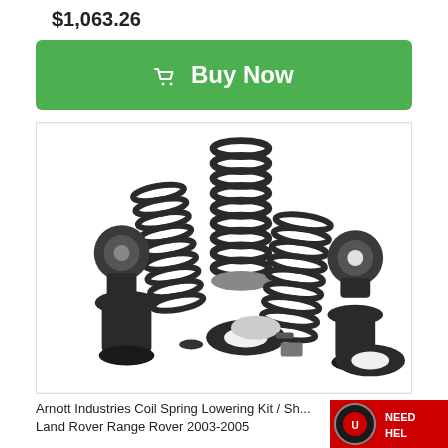$1,063.26
Buy Now
[Figure (photo): Arnott Industries Coil Spring Lowering Kit components including multiple coil springs, mounting hardware, and rubber boots laid out on white background]
Arnott Industries Coil Spring Lowering Kit / Sh... Land Rover Range Rover 2003-2005